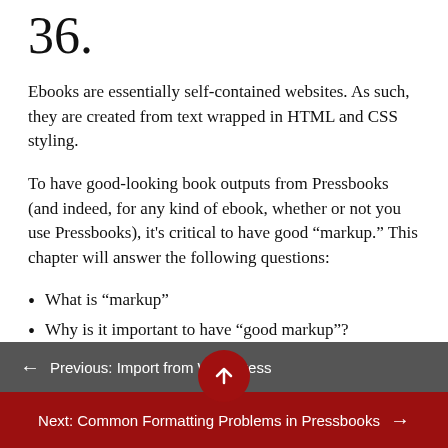36.
Ebooks are essentially self-contained websites. As such, they are created from text wrapped in HTML and CSS styling.
To have good-looking book outputs from Pressbooks (and indeed, for any kind of ebook, whether or not you use Pressbooks), it’s critical to have good “markup.” This chapter will answer the following questions:
What is “markup”
Why is it important to have “good markup”?
Previous: Import from WordPress
Next: Common Formatting Problems in Pressbooks